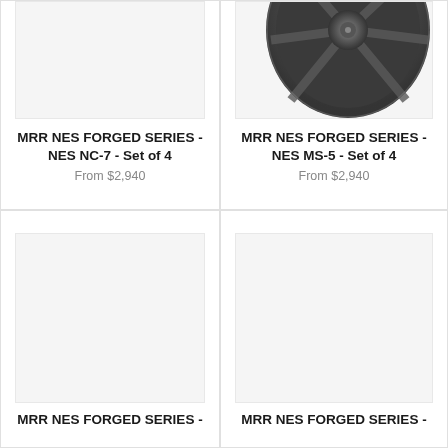[Figure (photo): Product image area for MRR NES NC-7 wheel (partially visible, top cropped)]
MRR NES FORGED SERIES - NES NC-7 - Set of 4
From $2,940
[Figure (photo): Photo of a dark gray/gunmetal forged wheel - MRR NES MS-5, partially visible from top]
MRR NES FORGED SERIES - NES MS-5 - Set of 4
From $2,940
[Figure (photo): Product image area for MRR NES FORGED SERIES wheel (bottom-left card), image appears blank/loading]
MRR NES FORGED SERIES -
[Figure (photo): Product image area for MRR NES FORGED SERIES wheel (bottom-right card), image appears blank/loading]
MRR NES FORGED SERIES -